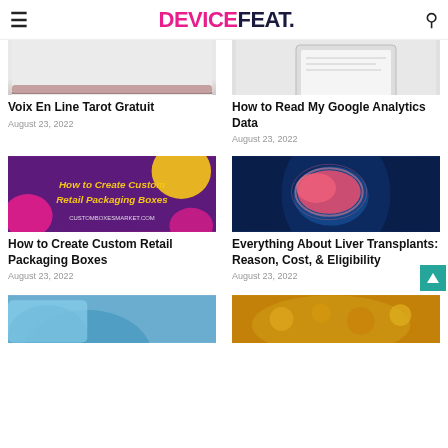DEVICEFEAT.
[Figure (photo): Partial image top left - measurement tape on white background]
[Figure (photo): Partial image top right - tablet/document on white background]
Voix En Line Tarot Gratuit
August 23, 2022
How to Read My Google Analytics Data
August 23, 2022
[Figure (photo): How to Create Custom Retail Packaging Boxes - colorful graphic with purple, yellow, pink background and cursive text]
[Figure (photo): Liver transplant medical illustration showing glowing red liver in blue x-ray style body]
How to Create Custom Retail Packaging Boxes
August 23, 2022
Everything About Liver Transplants: Reason, Cost, & Eligibility
August 23, 2022
[Figure (photo): Partial bottom left image - blue/teal object]
[Figure (photo): Partial bottom right image - golden/yellow food item]